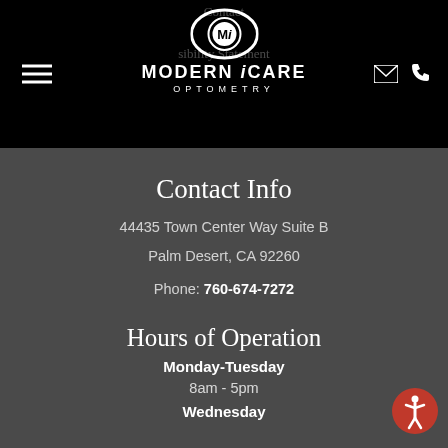[Figure (logo): Modern iCare Optometry logo with eye icon containing Mi letters]
Contact Info
44435 Town Center Way Suite B
Palm Desert, CA 92260
Phone: 760-674-7272
Hours of Operation
Monday-Tuesday
8am - 5pm
Wednesday